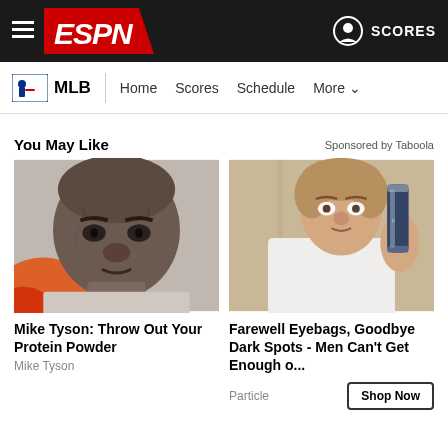ESPN - MLB - Home Scores Schedule More
You May Like    Sponsored by Taboola
[Figure (photo): Black and white close-up photo of Mike Tyson looking intensely at the camera, with orange/red color in the lower left corner]
Mike Tyson: Throw Out Your Protein Powder
Mike Tyson
[Figure (photo): Color photo of a man in a white shirt holding up a dark metallic cylindrical product/tube]
Farewell Eyebags, Goodbye Dark Spots - Men Can't Get Enough o...
Particle
Shop Now